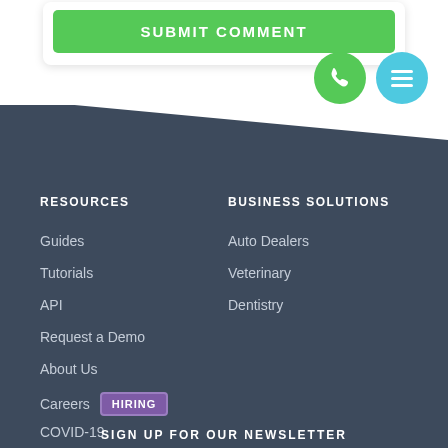[Figure (screenshot): Green 'SUBMIT COMMENT' button inside a white card, with a green phone icon circle and a cyan menu icon circle overlapping the card's bottom right corner]
RESOURCES
Guides
Tutorials
API
Request a Demo
About Us
Careers  HIRING
COVID-19
BUSINESS SOLUTIONS
Auto Dealers
Veterinary
Dentistry
SIGN UP FOR OUR NEWSLETTER